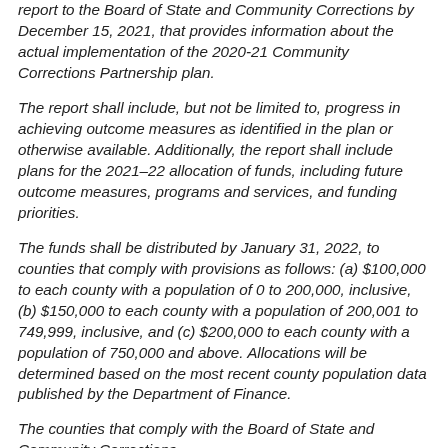report to the Board of State and Community Corrections by December 15, 2021, that provides information about the actual implementation of the 2020-21 Community Corrections Partnership plan.
The report shall include, but not be limited to, progress in achieving outcome measures as identified in the plan or otherwise available. Additionally, the report shall include plans for the 2021–22 allocation of funds, including future outcome measures, programs and services, and funding priorities.
The funds shall be distributed by January 31, 2022, to counties that comply with provisions as follows: (a) $100,000 to each county with a population of 0 to 200,000, inclusive, (b) $150,000 to each county with a population of 200,001 to 749,999, inclusive, and (c) $200,000 to each county with a population of 750,000 and above. Allocations will be determined based on the most recent county population data published by the Department of Finance.
The counties that comply with the Board of State and Community Corrections...